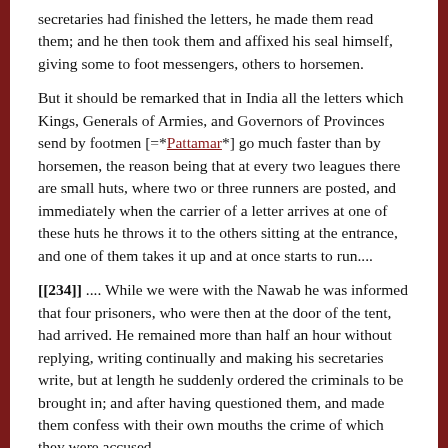secretaries had finished the letters, he made them read them; and he then took them and affixed his seal himself, giving some to foot messengers, others to horsemen.
But it should be remarked that in India all the letters which Kings, Generals of Armies, and Governors of Provinces send by footmen [=*Pattamar*] go much faster than by horsemen, the reason being that at every two leagues there are small huts, where two or three runners are posted, and immediately when the carrier of a letter arrives at one of these huts he throws it to the others sitting at the entrance, and one of them takes it up and at once starts to run....
[[234]] .... While we were with the Nawab he was informed that four prisoners, who were then at the door of the tent, had arrived. He remained more than half an hour without replying, writing continually and making his secretaries write, but at length he suddenly ordered the criminals to be brought in; and after having questioned them, and made them confess with their own mouths the crime of which they were accused....
Among these four prisoners who were brought into his presence was one who had entered a house and had slain a mother and her three infants. He was condemned forthwith to have his feet and hands cut off, and to death, as a pirate...